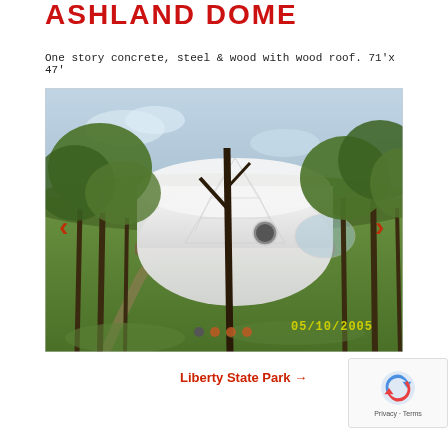Ashland Dome
One story concrete, steel & wood with wood roof. 71'x 47'
[Figure (photo): Photograph of a white geodesic dome structure surrounded by trees on a grassy hillside. A dirt path leads to the dome. A circular window is visible on the dome side. Date stamp reads 05/10/2005. Carousel navigation arrows visible on left and right sides.]
Liberty State Park →